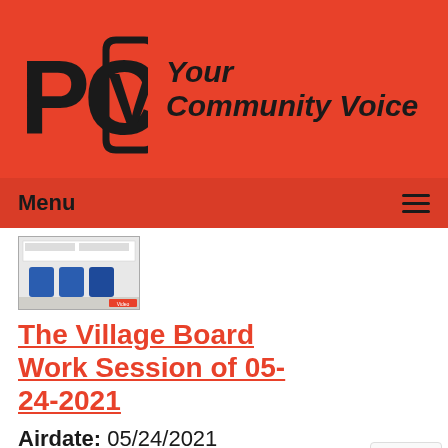[Figure (logo): PCTV logo with text 'Your Community Voice' on red background]
Menu ≡
[Figure (photo): Thumbnail image of a room with blue chairs and a screen/whiteboard]
The Village Board Work Session of 05-24-2021
Airdate: 05/24/2021
Guests: The Nicholas Center and Spectrum